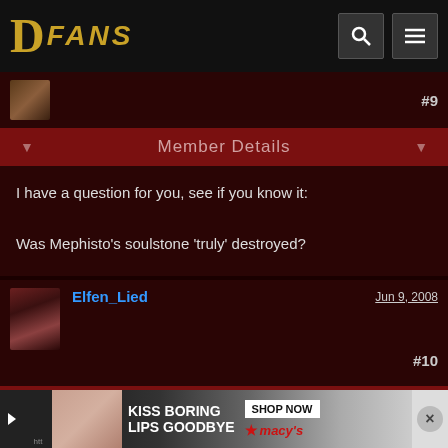DFANS
#9
Member Details
I have a question for you, see if you know it:

Was Mephisto's soulstone 'truly' destroyed?
Elfen_Lied   Jun 9, 2008
#10
Member Details
Was Mephisto's soulstone 'truly' destroyed?
[Figure (screenshot): Ad banner: KISS BORING LIPS GOODBYE - SHOP NOW - macys]